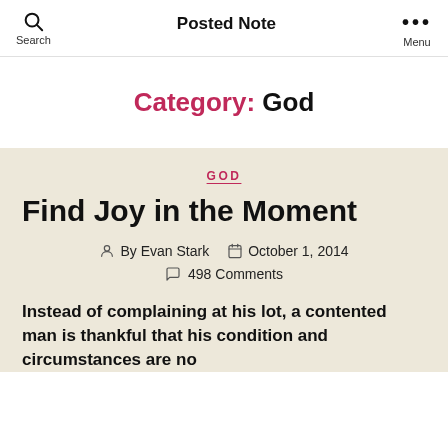Posted Note
Category: God
GOD
Find Joy in the Moment
By Evan Stark   October 1, 2014
498 Comments
Instead of complaining at his lot, a contented man is thankful that his condition and circumstances are no